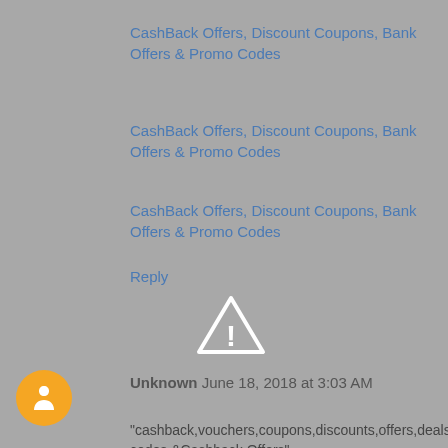CashBack Offers, Discount Coupons, Bank Offers & Promo Codes
CashBack Offers, Discount Coupons, Bank Offers & Promo Codes
CashBack Offers, Discount Coupons, Bank Offers & Promo Codes
Reply
[Figure (illustration): Warning triangle icon with exclamation mark]
Unknown  June 18, 2018 at 3:03 AM
"cashback,vouchers,coupons,discounts,offers,deals,promo codes,&Cashback Offers"
"cash back coupons "Coupons, Discounts & Offers on 1500+ Shopping Sites in India.
Get Extra Cashback Everytime You Shop Online using Coupons of Amazon, Flipkart,